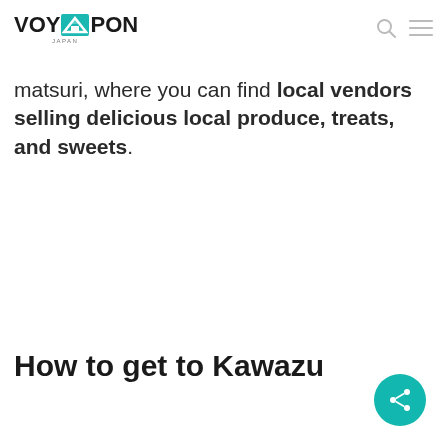VOYAPON
matsuri, where you can find local vendors selling delicious local produce, treats, and sweets.
How to get to Kawazu